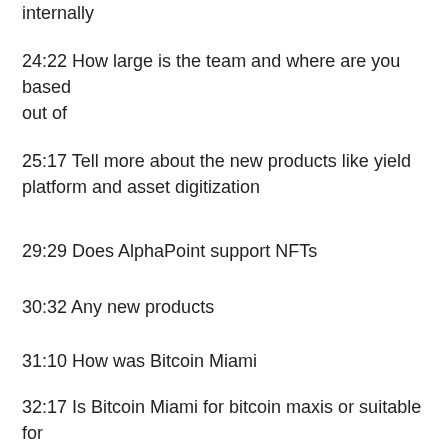internally
24:22 How large is the team and where are you based out of
25:17 Tell more about the new products like yield platform and asset digitization
29:29 Does AlphaPoint support NFTs
30:32 Any new products
31:10 How was Bitcoin Miami
32:17 Is Bitcoin Miami for bitcoin maxis or suitable for bitcoin noobs also